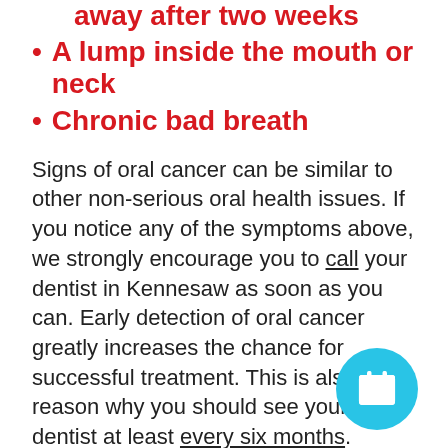A sore or discoloration that doesn't go away after two weeks
A lump inside the mouth or neck
Chronic bad breath
Signs of oral cancer can be similar to other non-serious oral health issues. If you notice any of the symptoms above, we strongly encourage you to call your dentist in Kennesaw as soon as you can. Early detection of oral cancer greatly increases the chance for successful treatment. This is also one reason why you should see your dentist at least every six months.
At our Kennesaw dental office, we care about keeping our neighbors healthy. If there are
[Figure (illustration): Cyan circular calendar/appointment icon button in bottom right corner]